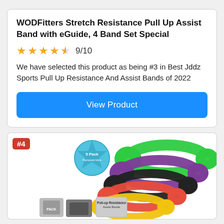WODFitters Stretch Resistance Pull Up Assist Band with eGuide, 4 Band Set Special
9/10
We have selected this product as being #3 in Best Jddz Sports Pull Up Resistance And Assist Bands of 2022
View Product
#4
[Figure (photo): 5-pack resistance pull up assist bands in multiple colors: green, purple, black, red, and yellow, fanned out. Includes packaging/bags visible at bottom.]